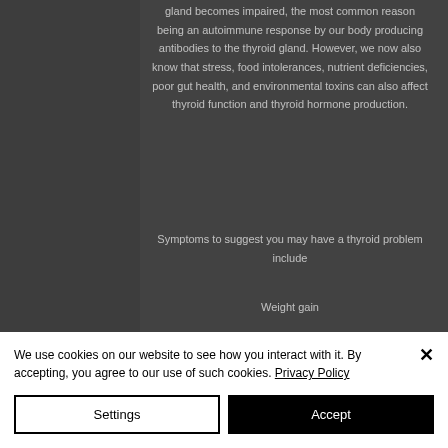gland becomes impaired, the most common reason being an autoimmune response by our body producing antibodies to the thyroid gland. However, we now also know that stress, food intolerances, nutrient deficiencies, poor gut health, and environmental toxins can also affect thyroid function and thyroid hormone production.
Symptoms to suggest you may have a thyroid problem include
Weight gain
Brain Fog
We use cookies on our website to see how you interact with it. By accepting, you agree to our use of such cookies. Privacy Policy